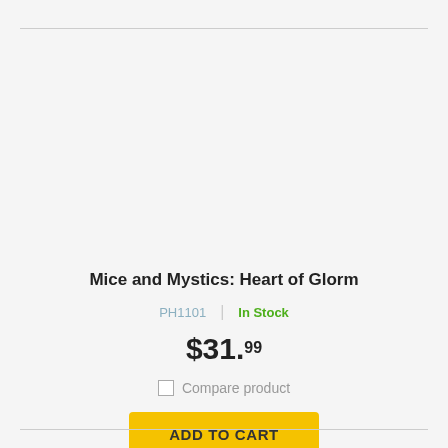Mice and Mystics: Heart of Glorm
PH1101 | In Stock
$31.99
Compare product
ADD TO CART